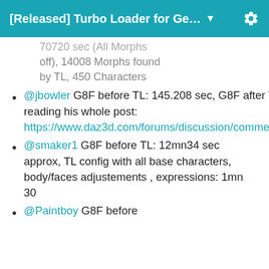[Released] Turbo Loader for Ge...
70720 sec (All Morphs off), 14008 Morphs found by TL, 450 Characters
@jbowler G8F before TL: 145.208 sec, G8F after TL: 29.475 secs.  It is worth reading his whole post: https://www.daz3d.com/forums/discussion/comment/7406761/#Comment_7406761
@smaker1 G8F before TL: 12mn34 sec approx, TL config with all base characters, body/faces adjustements , expressions: 1mn 30
@Paintboy G8F before